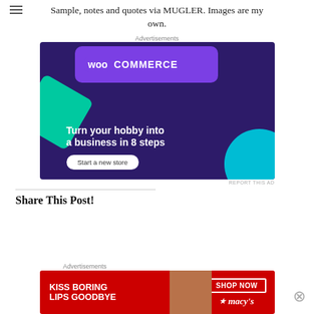Sample, notes and quotes via MUGLER. Images are my own.
[Figure (screenshot): WooCommerce advertisement: 'Turn your hobby into a business in 8 steps' with 'Start a new store' button on dark purple background with green and cyan decorative shapes]
REPORT THIS AD
Share This Post!
[Figure (screenshot): Macy's advertisement: 'KISS BORING LIPS GOODBYE' with 'SHOP NOW' button and Macy's star logo on red background with model photo]